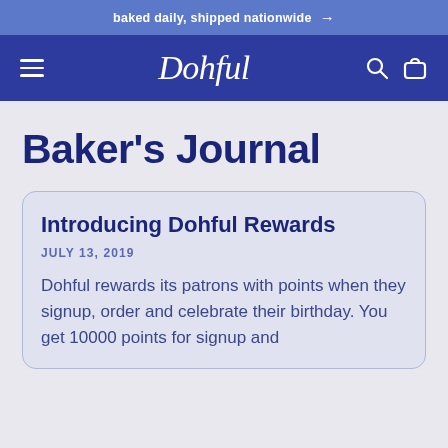baked daily, shipped nationwide →
[Figure (logo): Dohful script logo in white on dark blue navigation bar with hamburger menu, search icon, and cart icon]
Baker's Journal
Introducing Dohful Rewards
JULY 13, 2019
Dohful rewards its patrons with points when they signup, order and celebrate their birthday. You get 10000 points for signup and